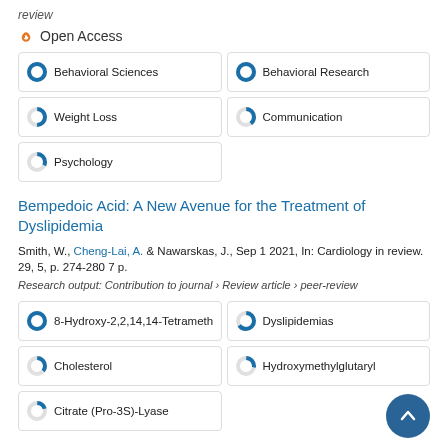review
Open Access
Behavioral Sciences
Behavioral Research
Weight Loss
Communication
Psychology
Bempedoic Acid: A New Avenue for the Treatment of Dyslipidemia
Smith, W., Cheng-Lai, A. & Nawarskas, J., Sep 1 2021, In: Cardiology in review. 29, 5, p. 274-280 7 p.
Research output: Contribution to journal › Review article › peer-review
8-Hydroxy-2,2,14,14-Tetrameth
Dyslipidemias
Cholesterol
Hydroxymethylglutaryl
Citrate (Pro-3S)-Lyase